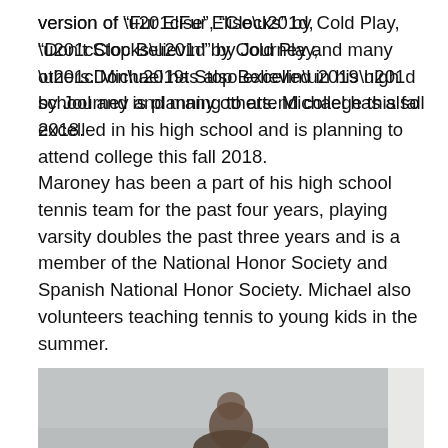version of “Fur Elise”, “Clocks” by Cold Play, “Don’t Stop Believin’” by Journey and many others. Michael has also excelled in his high school and is planning to attend college this fall 2018.
Maroney has been a part of his high school tennis team for the past four years, playing varsity doubles the past three years and is a member of the National Honor Society and Spanish National Honor Society. Michael also volunteers teaching tennis to young kids in the summer.
[Figure (photo): Partial photograph of a person, cropped at bottom of page, against a grey background.]